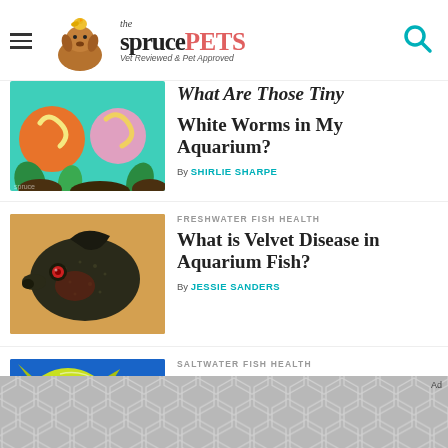the spruce PETS — Vet Reviewed & Pet Approved
What Are Those Tiny White Worms in My Aquarium? By SHIRLIE SHARPE
[Figure (illustration): Illustrated image of white worms on colorful circular backgrounds, aquarium-themed illustration]
FRESHWATER FISH HEALTH
What is Velvet Disease in Aquarium Fish?
By JESSIE SANDERS
[Figure (photo): Close-up photograph of a dark fish with a red eye, showing velvet disease, on a warm orange background]
SALTWATER FISH HEALTH
Here's How to Identify and Treat Black S...
[Figure (photo): Partial photograph of a yellow-green fish on blue background with purple coral]
[Figure (other): Gray hexagonal pattern advertisement banner at bottom of screen with Ad label]